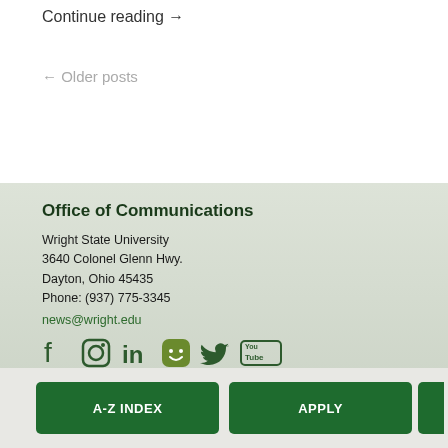Continue reading →
← Older posts
Office of Communications
Wright State University
3640 Colonel Glenn Hwy.
Dayton, Ohio 45435
Phone: (937) 775-3345
news@wright.edu
[Figure (infographic): Social media icons: Facebook, Instagram, LinkedIn, a green rounded square icon, Twitter, YouTube]
A-Z INDEX   APPLY